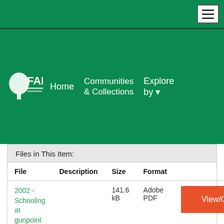[Figure (screenshot): FADA repository website navigation bar with hamburger menu button on dark green background]
[Figure (logo): FADA logo with tree icon and Arabic text, white on green background, with navigation links: Home, Communities & Collections, Explore by]
| File | Description | Size | Format |  |
| --- | --- | --- | --- | --- |
| 2002 - Schooling at gunpoint 2002.pdf |  | 141.6 kB | Adobe PDF | View/Open |